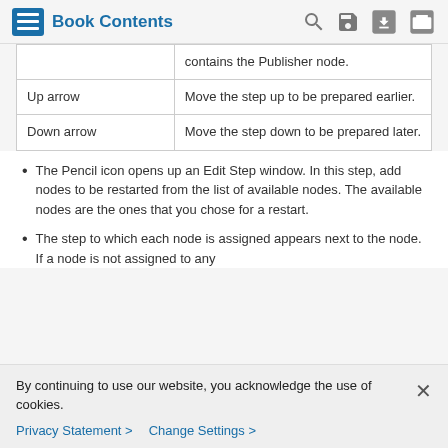Book Contents
|  | contains the Publisher node. |
| Up arrow | Move the step up to be prepared earlier. |
| Down arrow | Move the step down to be prepared later. |
The Pencil icon opens up an Edit Step window. In this step, add nodes to be restarted from the list of available nodes. The available nodes are the ones that you chose for a restart.
The step to which each node is assigned appears next to the node. If a node is not assigned to any
By continuing to use our website, you acknowledge the use of cookies.
Privacy Statement >   Change Settings >